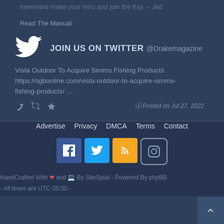interested make your intro and join the fray. – Jed
Read The Manual
JOIN US ON TWITTER @Drakemagazine
Vista Outdoor To Acquire Simms Fishing Products https://sgbonline.com/vista-outdoor-to-acquire-simms-fishing-products/ …
Posted on Jul 27, 2022
Advertise  Privacy  DMCA  Terms  Contact
[Figure (infographic): Social media icons: Facebook (blue), Twitter (light blue), RSS (orange), Instagram (outline)]
HandCrafted With ❤ and 💻 By SiteSplat - Powered By phpBB
- All times are UTC-05:00 -